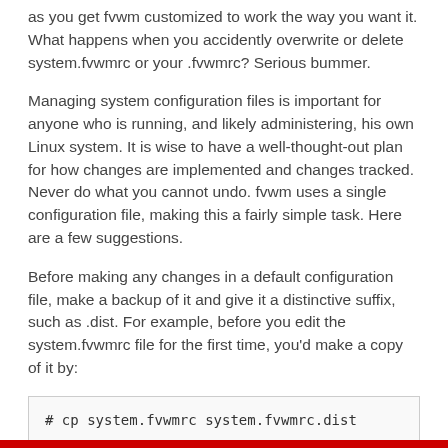as you get fvwm customized to work the way you want it. What happens when you accidently overwrite or delete system.fvwmrc or your .fvwmrc? Serious bummer.
Managing system configuration files is important for anyone who is running, and likely administering, his own Linux system. It is wise to have a well-thought-out plan for how changes are implemented and changes tracked. Never do what you cannot undo. fvwm uses a single configuration file, making this a fairly simple task. Here are a few suggestions.
Before making any changes in a default configuration file, make a backup of it and give it a distinctive suffix, such as .dist. For example, before you edit the system.fvwmrc file for the first time, you'd make a copy of it by:
The .dist suffix alerts you to the fact that this is an original file from the distribution. To further safeguard it, you should copy this to a directory